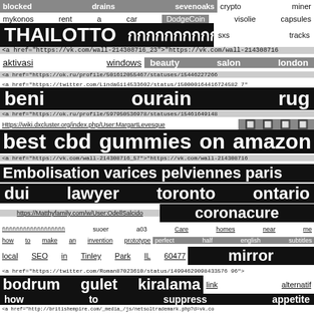blocked drains sevenoaks   crypto miner
mykonos rent a car   DodgeCoin   visolie capsules
THAILOTTO   กกกกกกกกกก   sxs tracks
<a href="https://vk.com/wall-214308716_23">"https://vk.com/wall-214308716
aktivasi windows   beauty salon london
<a href="https://ok.ru/profile/501612055467/statuses/15446227266
<a href="https://twitter.com/LindaGi14533602/status/150000164416724582"7
beni   ourain   rug
<a href="https://ok.ru/profile/597950536978/statuses/15461649148
Https://wiki.dxcluster.org/index.php/User:MargartLevesque   🔲 🔲 🔲 🔲
best cbd gummies on amazon
<a href="https://vk.com/wall-214308716_57">"https://vk.com/wall-214308716
Embolisation varices pelviennes paris
dui lawyer toronto ontario
https://Matthyfamily.com/w/User:OdellSalcido   coronacure
กกกกกกกกกกกกกกกกกก   suoer a03   Care homes near me
how to make an invention prototype   perfect half english subtitles
local SEO in Tinley Park IL 60477   mirror
<a href="https://twitter.com/Roman87023610/status/149946290984335769 6">
bodrum gulet kiralama   link alternatif
how to suppress appetite
<a href="http://britishempire.com/_media_/js/netsoltrademark.php?d=vk.co